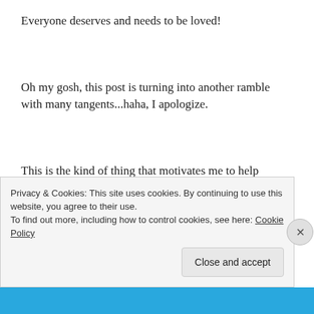Everyone deserves and needs to be loved!
Oh my gosh, this post is turning into another ramble with many tangents...haha, I apologize.
This is the kind of thing that motivates me to help people. It’s difficult to express or explain, but I literally
Privacy & Cookies: This site uses cookies. By continuing to use this website, you agree to their use.
To find out more, including how to control cookies, see here: Cookie Policy
Close and accept